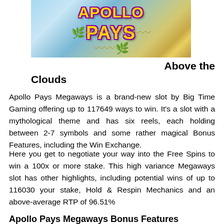[Figure (illustration): Apollo Pays Megaways game logo with golden text on purple outline, showing 'APOLLO PAYS' in large stylized letters with a laurel wreath beneath, set against a mythological landscape background with waterfalls and architecture.]
Above the Clouds
Apollo Pays Megaways is a brand-new slot by Big Time Gaming offering up to 117649 ways to win. It’s a slot with a mythological theme and has six reels, each holding between 2-7 symbols and some rather magical Bonus Features, including the Win Exchange.
Here you get to negotiate your way into the Free Spins to win a 100x or more stake. This high variance Megaways slot has other highlights, including potential wins of up to 116030 your stake, Hold & Respin Mechanics and an above-average RTP of 96.51%
Apollo Pays Megaways Bonus Features